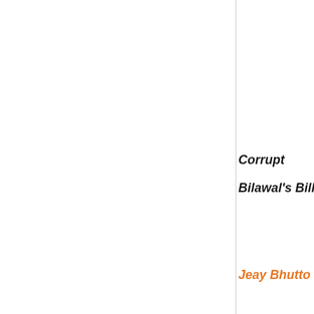Corrupt
Bilawal's Bill
Jeay Bhutto